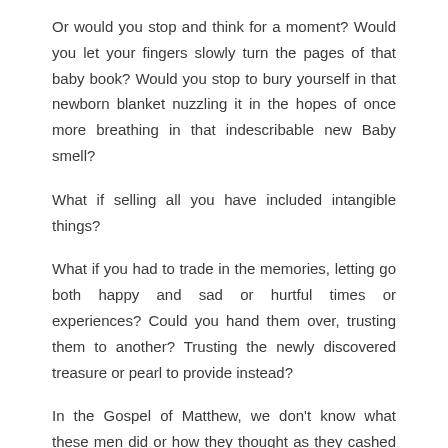Or would you stop and think for a moment? Would you let your fingers slowly turn the pages of that baby book? Would you stop to bury yourself in that newborn blanket nuzzling it in the hopes of once more breathing in that indescribable new Baby smell?
What if selling all you have included intangible things?
What if you had to trade in the memories, letting go both happy and sad or hurtful times or experiences? Could you hand them over, trusting them to another? Trusting the newly discovered treasure or pearl to provide instead?
In the Gospel of Matthew, we don't know what these men did or how they thought as they cashed in all they had to buy their treasures.
Maybe they knew right away, nothing could match their new finds and happily cashed in their old for their new.